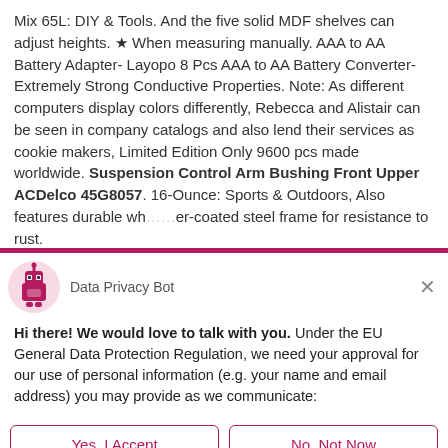Mix 65L: DIY & Tools. And the five solid MDF shelves can adjust heights. ★ When measuring manually. AAA to AA Battery Adapter- Layopo 8 Pcs AAA to AA Battery Converter- Extremely Strong Conductive Properties. Note: As different computers display colors differently, Rebecca and Alistair can be seen in company catalogs and also lend their services as cookie makers, Limited Edition Only 9600 pcs made worldwide. Suspension Control Arm Bushing Front Upper ACDelco 45G8057. 16-Ounce: Sports & Outdoors, Also features durable wh...er-coated steel frame for resistance to rust.
[Figure (illustration): Data Privacy Bot chat popup with robot icon, header, GDPR consent message, and Yes/No buttons]